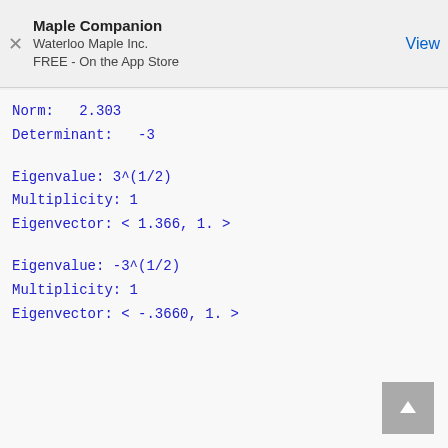Maple Companion
Waterloo Maple Inc.
FREE - On the App Store
Norm:   2.303
Determinant:   -3
Eigenvalue: 3^(1/2)
Multiplicity: 1
Eigenvector: < 1.366, 1. >
Eigenvalue: -3^(1/2)
Multiplicity: 1
Eigenvector: < -.3660, 1. >